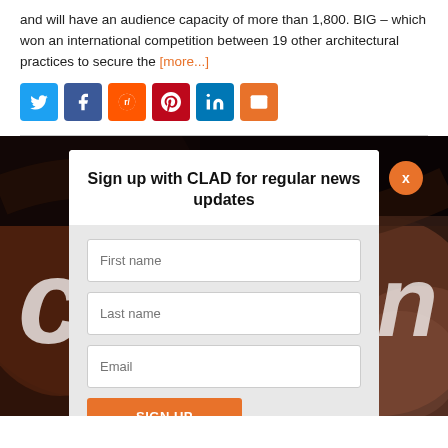and will have an audience capacity of more than 1,800. BIG – which won an international competition between 19 other architectural practices to secure the [more...]
[Figure (screenshot): Social share buttons: Twitter (blue), Facebook (dark blue), Reddit (orange), Pinterest (red), LinkedIn (blue), Email (orange)]
[Figure (photo): Background photo showing a darkened interior architectural space with letters 'c' and 'n' visible, overlaid with a modal sign-up form for CLAD news updates containing First name, Last name, Email fields and a SIGN UP button, plus an orange X close button.]